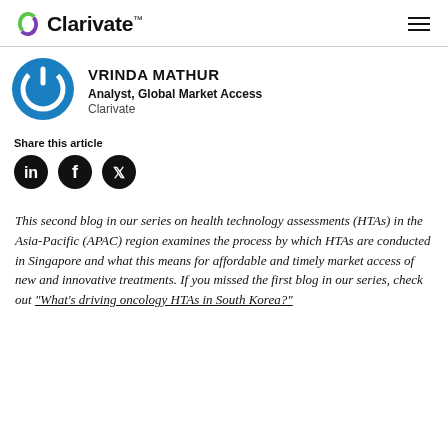Clarivate
VRINDA MATHUR
Analyst, Global Market Access
Clarivate
Share this article
This second blog in our series on health technology assessments (HTAs) in the Asia-Pacific (APAC) region examines the process by which HTAs are conducted in Singapore and what this means for affordable and timely market access of new and innovative treatments. If you missed the first blog in our series, check out "What's driving oncology HTAs in South Korea?"